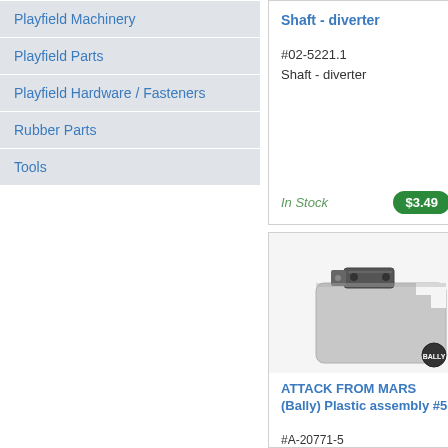Playfield Machinery
Playfield Parts
Playfield Hardware / Fasteners
Rubber Parts
Tools
Shaft - diverter
#02-5221.1
Shaft - diverter
In Stock
$3.49
Ta... op...
#0...
In
[Figure (photo): Gray plastic assembly part for pinball machine - ATTACK FROM MARS (Bally) Plastic assembly #5, angled flat piece with metal clips at top]
ATTACK FROM MARS (Bally) Plastic assembly #5
#A-20771-5
ATTACK FROM MARS
Po... ne...
#5...
po...